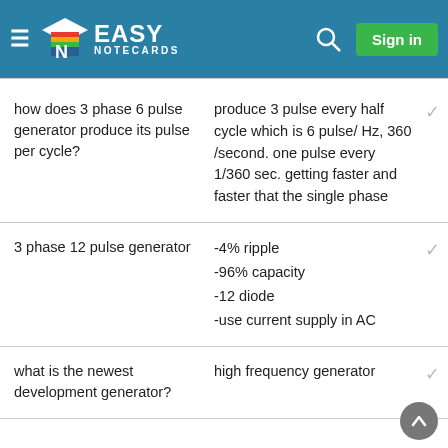Easy Notecards - Sign in
| Question | Answer |
| --- | --- |
| how does 3 phase 6 pulse generator produce its pulse per cycle? | produce 3 pulse every half cycle which is 6 pulse/ Hz, 360 /second. one pulse every 1/360 sec. getting faster and faster that the single phase |
| 3 phase 12 pulse generator | -4% ripple
-96% capacity
-12 diode
-use current supply in AC |
| what is the newest development generator? | high frequency generator |